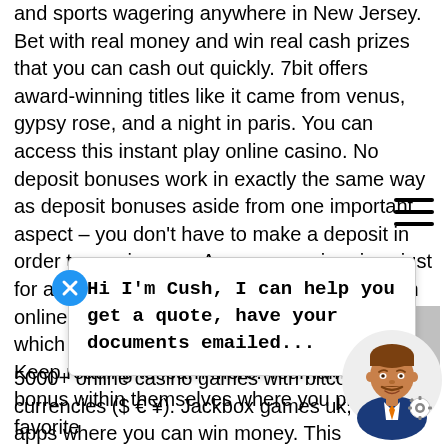and sports wagering anywhere in New Jersey. Bet with real money and win real cash prizes that you can cash out quickly. 7bit offers award-winning titles like it came from venus, gypsy rose, and a night in paris. You can access this instant play online casino. No deposit bonuses work in exactly the same way as deposit bonuses aside from one important aspect – you don't have to make a deposit in order to receive one. As you can win prizes just for answering questions Knowing what bitcoin online casino games exist can help you decide which ones have the better chance of winning. Keep reading to learn more. Tournaments are a bonus within themselves where you play your favorite ... me leaderboard ... + a crypto ca... 5000+ online casino games with bitcoin or fiat currencies ($ € ¥). Jackbox games uk, casino apps where you can win money. This
[Figure (other): Chat popup with avatar. Blue close (X) button on left. Popup says 'Hi I'm Cush, I can help you get a quote, have your documents emailed...'. Illustrated male avatar with brown hair and mustache on the right.]